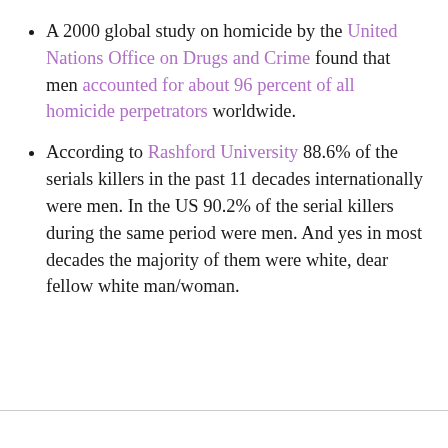A 2000 global study on homicide by the United Nations Office on Drugs and Crime found that men accounted for about 96 percent of all homicide perpetrators worldwide.
According to Rashford University 88.6% of the serials killers in the past 11 decades internationally were men. In the US 90.2% of the serial killers during the same period were men. And yes in most decades the majority of them were white, dear fellow white man/woman.